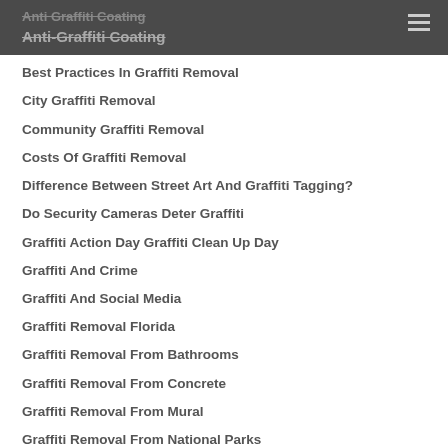Anti Graffiti Coating
Anti-Graffiti Coating
Best Practices In Graffiti Removal
City Graffiti Removal
Community Graffiti Removal
Costs Of Graffiti Removal
Difference Between Street Art And Graffiti Tagging?
Do Security Cameras Deter Graffiti
Graffiti Action Day Graffiti Clean Up Day
Graffiti And Crime
Graffiti And Social Media
Graffiti Removal Florida
Graffiti Removal From Bathrooms
Graffiti Removal From Concrete
Graffiti Removal From Mural
Graffiti Removal From National Parks
Graffiti Removal From Park
Graffiti Removal From School
Graffiti Removal From Stucco